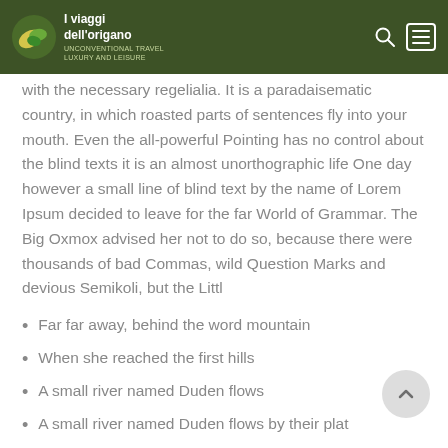I viaggi dell'origano
with the necessary regelialia. It is a paradaisematic country, in which roasted parts of sentences fly into your mouth. Even the all-powerful Pointing has no control about the blind texts it is an almost unorthographic life One day however a small line of blind text by the name of Lorem Ipsum decided to leave for the far World of Grammar. The Big Oxmox advised her not to do so, because there were thousands of bad Commas, wild Question Marks and devious Semikoli, but the Littl
Far far away, behind the word mountain
When she reached the first hills
A small river named Duden flows
A small river named Duden flows by their plat